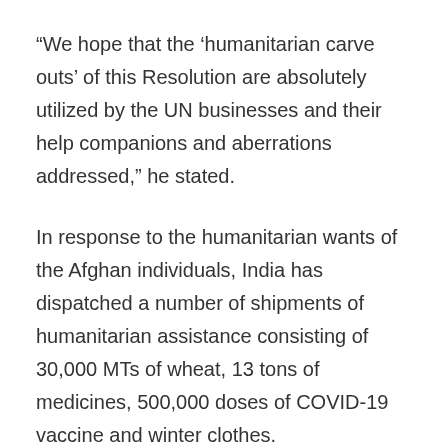“We hope that the ‘humanitarian carve outs’ of this Resolution are absolutely utilized by the UN businesses and their help companions and aberrations addressed,” he stated.
In response to the humanitarian wants of the Afghan individuals, India has dispatched a number of shipments of humanitarian assistance consisting of 30,000 MTs of wheat, 13 tons of medicines, 500,000 doses of COVID-19 vaccine and winter clothes.
These humanitarian consignments have been